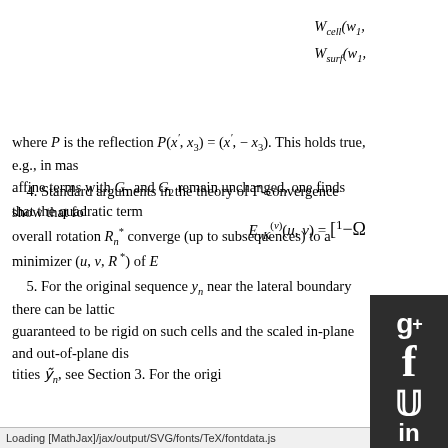where P is the reflection P(x', x_3) = (x', -x_3). This holds true, e.g., in mass... affine terms with G_1 and G_2 remain unchanged, one finds that the quadratic term
4. Standard arguments in the theory of Γ-convergence show that fo... overall rotation R_n^* converge (up to subsequences) to a minimizer (u, v, R^*) of E...
5. For the original sequence y_n near the lateral boundary there can be lattic... guaranteed to be rigid on such cells and the scaled in-plane and out-of-plane dis... tities ỹ_n, see Section 3. For the origi...
Loading [MathJax]/jax/output/SVG/fonts/TeX/fontdata.js